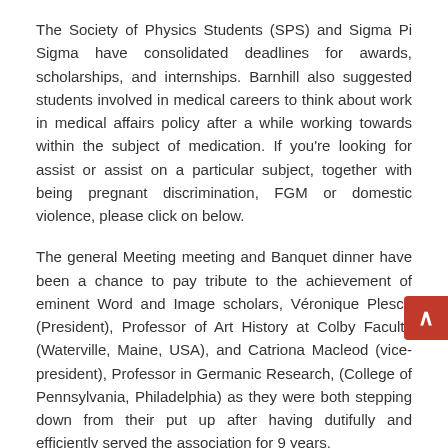The Society of Physics Students (SPS) and Sigma Pi Sigma have consolidated deadlines for awards, scholarships, and internships. Barnhill also suggested students involved in medical careers to think about work in medical affairs policy after a while working towards within the subject of medication. If you're looking for assist or assist on a particular subject, together with being pregnant discrimination, FGM or domestic violence, please click on below.
The general Meeting meeting and Banquet dinner have been a chance to pay tribute to the achievement of eminent Word and Image scholars, Véronique Plesch (President), Professor of Art History at Colby Faculty (Waterville, Maine, USA), and Catriona Macleod (vice-president), Professor in Germanic Research, (College of Pennsylvania, Philadelphia) as they were both stepping down from their put up after having dutifully and efficiently served the association for 9 years.
From Could 14 to Might 27, 2017, Gwen Ottinger was a Distinguished Visiting Scholar at the Rick Scientist...